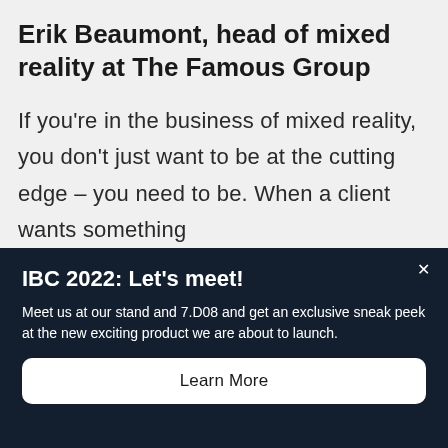Erik Beaumont, head of mixed reality at The Famous Group
If you're in the business of mixed reality, you don't just want to be at the cutting edge – you need to be. When a client wants something
IBC 2022: Let's meet!
Meet us at our stand and 7.D08 and get an exclusive sneak peek at the new exciting product we are about to launch.
Learn More